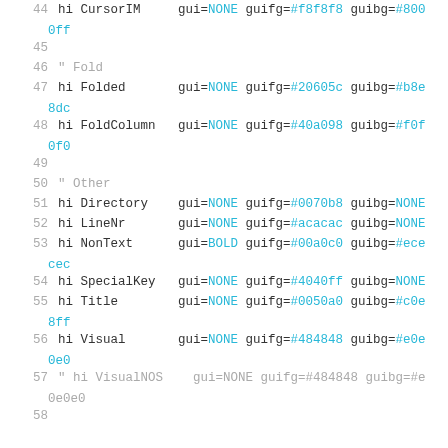hi CursorIM gui=NONE guifg=#f8f8f8 guibg=#8000ff
" Fold
hi Folded gui=NONE guifg=#20605c guibg=#b8e8dc
hi FoldColumn gui=NONE guifg=#40a098 guibg=#f0f0f0
" Other
hi Directory gui=NONE guifg=#0070b8 guibg=NONE
hi LineNr gui=NONE guifg=#acacac guibg=NONE
hi NonText gui=BOLD guifg=#00a0c0 guibg=#ececec
hi SpecialKey gui=NONE guifg=#4040ff guibg=NONE
hi Title gui=NONE guifg=#0050a0 guibg=#c0e8ff
hi Visual gui=NONE guifg=#484848 guibg=#e0e0e0
" hi VisualNOS gui=NONE guifg=#484848 guibg=#e0e0e0